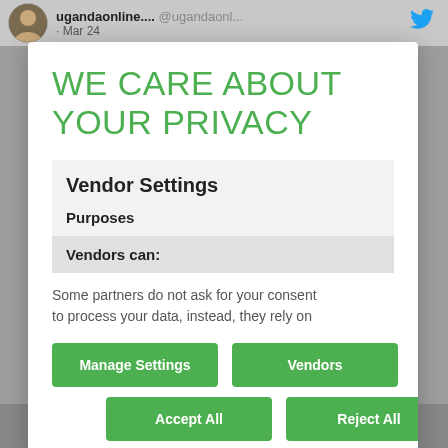ugandaonline.... @ugandaonl... · Mar 24
WE CARE ABOUT YOUR PRIVACY
Vendor Settings
Purposes
Vendors can:
Some partners do not ask for your consent to process your data, instead, they rely on
Manage Settings
Vendors
Accept All
Reject All
Save & Exit